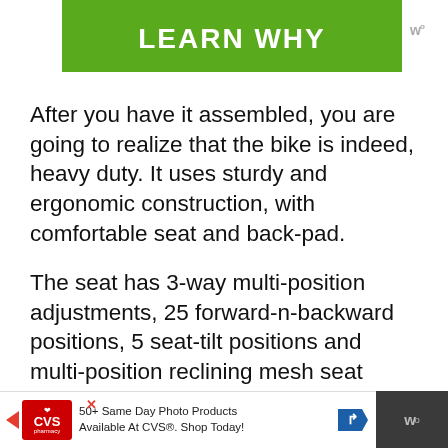[Figure (screenshot): Green banner with orange top bar reading LEARN WHY in white bold text, with a grey W logo to the right]
After you have it assembled, you are going to realize that the bike is indeed, heavy duty. It uses sturdy and ergonomic construction, with comfortable seat and back-pad.
The seat has 3-way multi-position adjustments, 25 forward-n-backward positions, 5 seat-tilt positions and multi-position reclining mesh seat back. Most verified users agree that the seat is
[Figure (screenshot): CVS Pharmacy advertisement banner at the bottom: 50+ Same Day Photo Products Available At CVS®. Shop Today! with CVS logo and navigation sign icon]